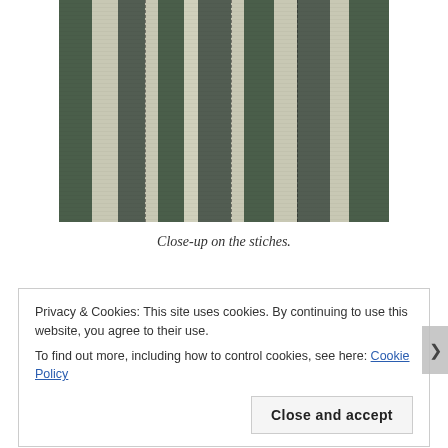[Figure (photo): Close-up photograph of striped fabric/textile showing alternating dark green and light cream/beige vertical stripes with visible stitching lines between them.]
Close-up on the stiches.
Privacy & Cookies: This site uses cookies. By continuing to use this website, you agree to their use.
To find out more, including how to control cookies, see here: Cookie Policy
Close and accept